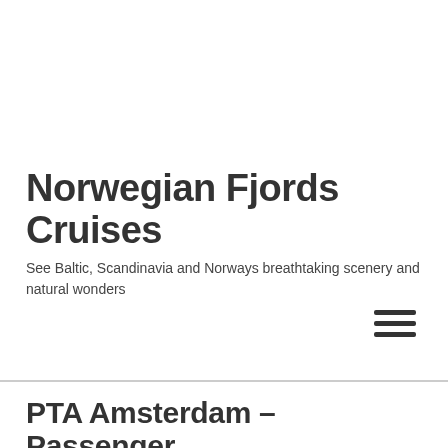Norwegian Fjords Cruises
See Baltic, Scandinavia and Norways breathtaking scenery and natural wonders
PTA Amsterdam – Passenger